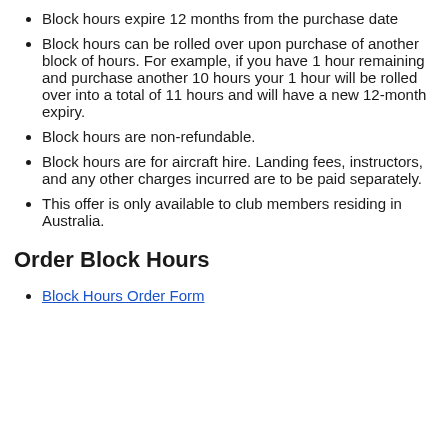Block hours expire 12 months from the purchase date
Block hours can be rolled over upon purchase of another block of hours. For example, if you have 1 hour remaining and purchase another 10 hours your 1 hour will be rolled over into a total of 11 hours and will have a new 12-month expiry.
Block hours are non-refundable.
Block hours are for aircraft hire. Landing fees, instructors, and any other charges incurred are to be paid separately.
This offer is only available to club members residing in Australia.
Order Block Hours
Block Hours Order Form